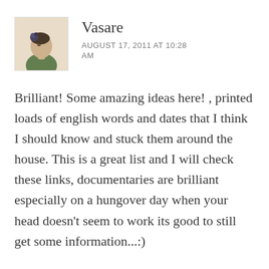[Figure (photo): Small square avatar photo of a woman looking upward, wearing a dark floral headpiece and green clothing, with a light beige background]
Vasare
AUGUST 17, 2011 AT 10:28 AM
Brilliant! Some amazing ideas here! , printed loads of english words and dates that I think I should know and stuck them around the house. This is a great list and I will check these links, documentaries are brilliant especially on a hungover day when your head doesn't seem to work its good to still get some information...:)